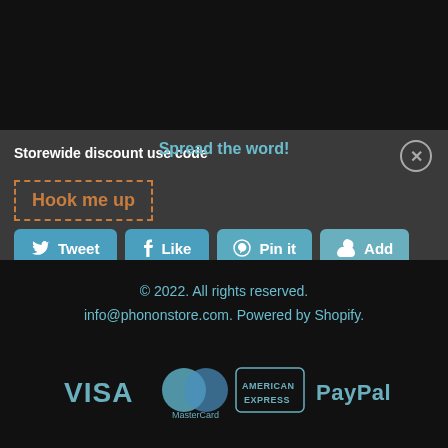Spread the word!
Storewide discount use code
Hook me up
[Figure (screenshot): Social sharing buttons: Tweet, Like, Pin it, Add]
© 2022. All rights reserved.
info@phononstore.com. Powered by Shopify.
[Figure (infographic): Payment method logos: VISA, MasterCard, American Express, PayPal]